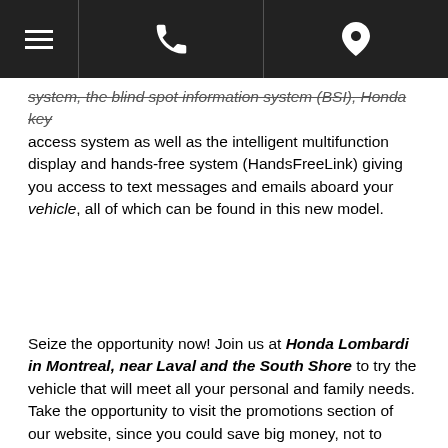[Navigation bar with hamburger menu, phone icon, and location pin icon]
system, the blind spot information system (BSI), Honda key access system as well as the intelligent multifunction display and hands-free system (HandsFreeLink) giving you access to text messages and emails aboard your vehicle, all of which can be found in this new model.
Seize the opportunity now! Join us at Honda Lombardi in Montreal, near Laval and the South Shore to try the vehicle that will meet all your personal and family needs. Take the opportunity to visit the promotions section of our website, since you could save big money, not to mention our advantageous financing!